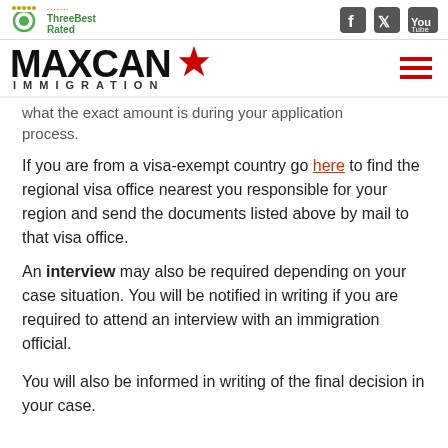ThreeBest Rated | MAXCAN IMMIGRATION
what the exact amount is during your application process.
If you are from a visa-exempt country go here to find the regional visa office nearest you responsible for your region and send the documents listed above by mail to that visa office.
An interview may also be required depending on your case situation. You will be notified in writing if you are required to attend an interview with an immigration official.
You will also be informed in writing of the final decision in your case.